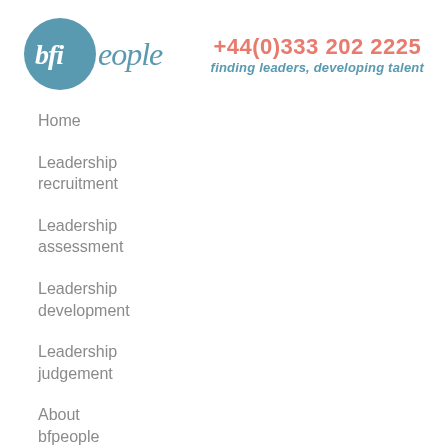[Figure (logo): bfpeople logo with teal circle containing stylized 'bfi' letters, followed by 'eople' in italic teal serif text]
+44(0)333 202 2225
finding leaders, developing talent
Home
Leadership recruitment
Leadership assessment
Leadership development
Leadership judgement
About bfpeople
News & Views
Contact